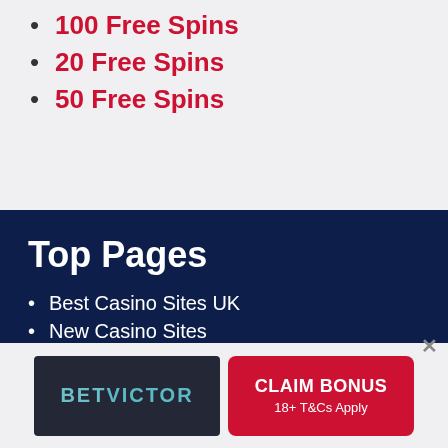100 Free Spins
20 Free Spins
50 Free Spins
Top Pages
Best Casino Sites UK
New Casino Sites
Slingo Sites
Reviews
Casino Bonus
[Figure (logo): BetVictor logo on dark background with red CLAIM BONUS button and 18+ T&Cs Apply text]